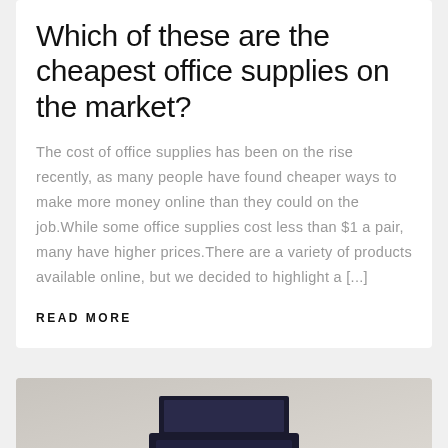Which of these are the cheapest office supplies on the market?
The cost of office supplies has been on the rise recently, as many people have found cheaper ways to make more money online than they could on the job.While some office supplies cost less than $1 a pair, many have higher prices.There are a variety of products available online, but we decided to highlight a [...]
READ MORE
[Figure (photo): Partial view of a laptop computer against a light gray/beige background, cropped at the bottom of the page]